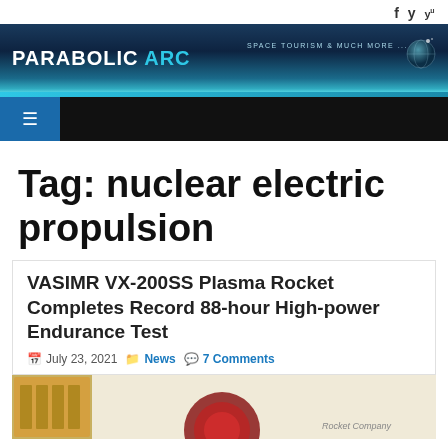PARABOLIC ARC — SPACE TOURISM & MUCH MORE
Tag: nuclear electric propulsion
VASIMR VX-200SS Plasma Rocket Completes Record 88-hour High-power Endurance Test
July 23, 2021 | News | 7 Comments
[Figure (photo): Photo of VASIMR rocket hardware with company logo visible, showing gold/metallic components against a white background with 'Rocket Company' text]